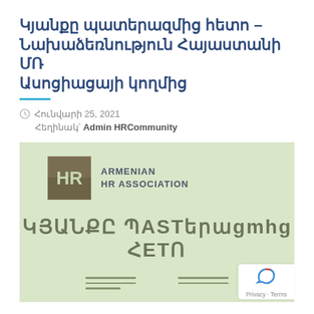Կյանքը պատերազմից հետո – Նախաձեռնություն Հայաստանի ՄՌ Ասոցիացայի կողմից
Հունվարի 25, 2021
Հեղինակ՝ Admin HRCommunity
[Figure (illustration): Armenian HR Association logo and promotional banner with text 'ԿՅԱՆՔԸ ՊԱՏԵՐԱԶՄԻՑ ՀԵՏՈ' on a sage green background, with decorative horizontal lines at the bottom]